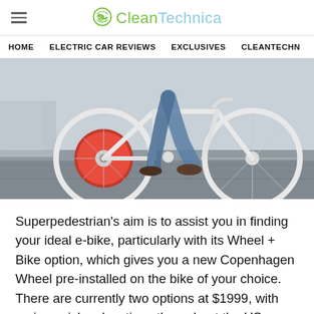CleanTechnica
HOME | ELECTRIC CAR REVIEWS | EXCLUSIVES | CLEANTECHN
[Figure (photo): Person riding a white bicycle with a distinctive red Copenhagen Wheel hub motor on the rear wheel, motion-blurred background suggesting movement on a street.]
Superpedestrian’s aim is to assist you in finding your ideal e-bike, particularly with its Wheel + Bike option, which gives you a new Copenhagen Wheel pre-installed on the bike of your choice. There are currently two options at $1999, with various pickup locations throughout the US.